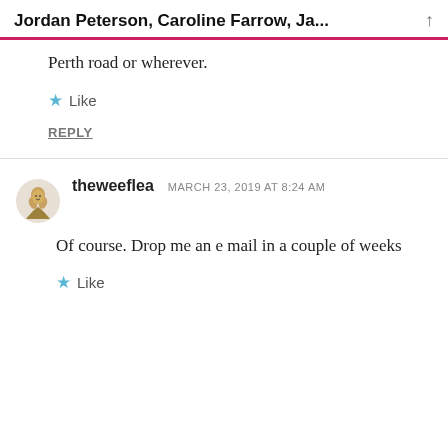Jordan Peterson, Caroline Farrow, Ja...
Perth road or wherever.
★ Like
REPLY
theweeflea   MARCH 23, 2019 AT 8:24 AM
Of course. Drop me an e mail in a couple of weeks
★ Like